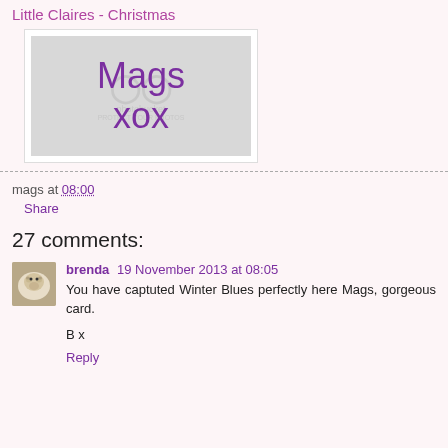Little Claires - Christmas
[Figure (photo): Handwritten text image showing 'Mags xox' in purple on a gray background with a Photobucket watermark]
mags at 08:00
Share
27 comments:
brenda  19 November 2013 at 08:05
You have captuted Winter Blues perfectly here Mags, gorgeous card.

B x

Reply